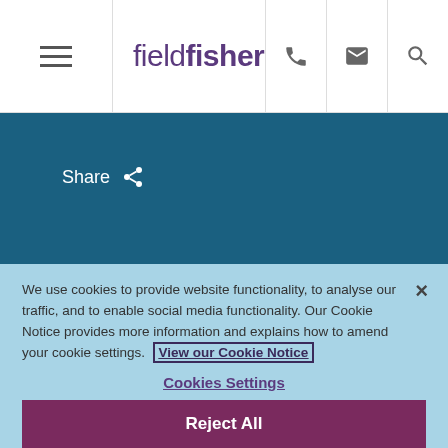fieldfisher
[Figure (screenshot): Fieldfisher law firm website header with hamburger menu, logo, phone, email, and search icons]
Share
We use cookies to provide website functionality, to analyse our traffic, and to enable social media functionality. Our Cookie Notice provides more information and explains how to amend your cookie settings. View our Cookie Notice
Cookies Settings
Reject All
Accept All Cookies